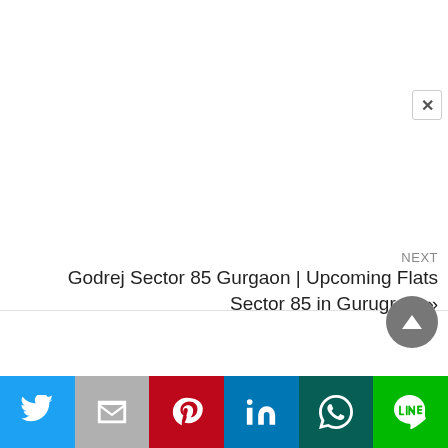[Figure (screenshot): White content area with a close (×) button in the upper right corner, representing a modal or overlay panel]
NEXT
Godrej Sector 85 Gurgaon | Upcoming Flats Sector 85 in Gurugram »
[Figure (other): Circular scroll-to-top button with an upward triangle arrow]
[Figure (infographic): Social share bar with six colored buttons: Twitter (blue), Gmail (gray), Pinterest (red), LinkedIn (blue), WhatsApp (dark teal), Line (green)]